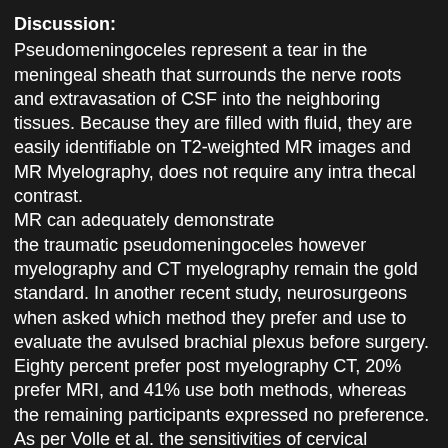Discussion:
Pseudomeningoceles represent a tear in the meningeal sheath that surrounds the nerve roots and extravasation of CSF into the neighboring tissues. Because they are filled with fluid, they are easily identifiable on T2-weighted MR images and MR Myelography, does not require any intra thecal contrast.
MR can adequately demonstrate the traumatic pseudomeningoceles however myelography and CT myelography remain the gold standard. In another recent study, neurosurgeons when asked which method they prefer and use to evaluate the avulsed brachial plexus before surgery. Eighty percent prefer post myelography CT, 20% prefer MRI, and 41% use both methods, whereas the remaining participants expressed no preference. As per Volle et al. the sensitivities of cervical myelography, CT myelography and MR are 100%, 45% and 6% respectively, for demonstration of nerve root avulsions. Xray and CT myelography not only show the level of avulsion but also documented overall size and morphology of the associated pseudomeningocele. The difficulty with MR imaging is it can